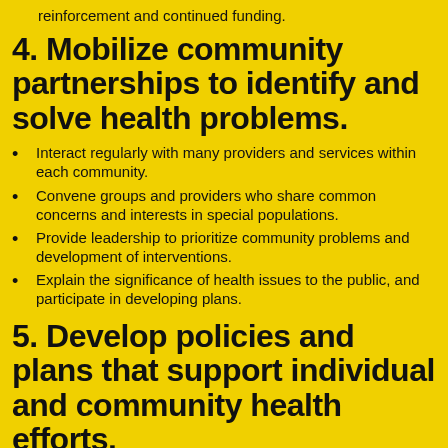reinforcement and continued funding.
4. Mobilize community partnerships to identify and solve health problems.
Interact regularly with many providers and services within each community.
Convene groups and providers who share common concerns and interests in special populations.
Provide leadership to prioritize community problems and development of interventions.
Explain the significance of health issues to the public, and participate in developing plans.
5. Develop policies and plans that support individual and community health efforts.